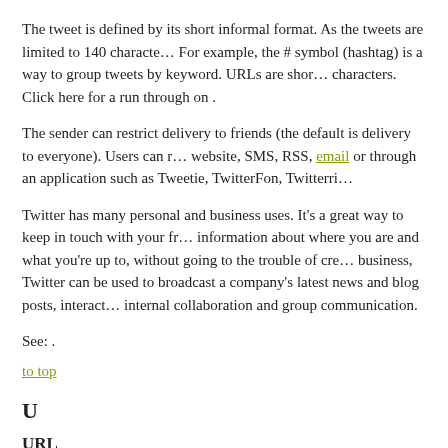The tweet is defined by its short informal format. As the tweets are limited to 140 characters. For example, the # symbol (hashtag) is a way to group tweets by keyword. URLs are shortened characters. Click here for a run through on .
The sender can restrict delivery to friends (the default is delivery to everyone). Users can receive notifications by website, SMS, RSS, email or through an application such as Tweetie, TwitterFon, Twitterri
Twitter has many personal and business uses. It's a great way to keep in touch with your friends and post information about where you are and what you're up to, without going to the trouble of creating a blog. For business, Twitter can be used to broadcast a company's latest news and blog posts, interact internal collaboration and group communication.
See: .
to top
U
URL
In very simple terms a URL is the address of a web page on the World Wide Web, the name address window of your browser. The acronym URL stands for Uniform Resource Locator